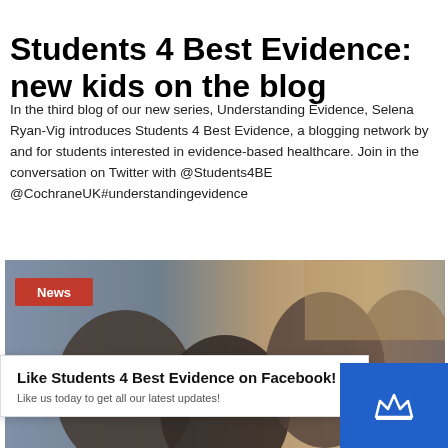Students 4 Best Evidence: new kids on the blog
In the third blog of our new series, Understanding Evidence, Selena Ryan-Vig introduces Students 4 Best Evidence, a blogging network by and for students interested in evidence-based healthcare. Join in the conversation on Twitter with @Students4BE @CochraneUK#understandingevidence
[Figure (photo): Group of students studying together, with a red 'News' badge overlay in the top-left corner]
Like Students 4 Best Evidence on Facebook!
Like us today to get all our latest updates!